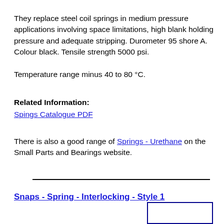They replace steel coil springs in medium pressure applications involving space limitations, high blank holding pressure and adequate stripping. Durometer 95 shore A. Colour black. Tensile strength 5000 psi.

Temperature range minus 40 to 80 °C.
Related Information:
Spings Catalogue PDF
There is also a good range of Springs - Urethane on the Small Parts and Bearings website.
Snaps - Spring - Interlocking - Style 1
[Figure (other): Partial view of a rectangular blue-bordered box at bottom right of page]